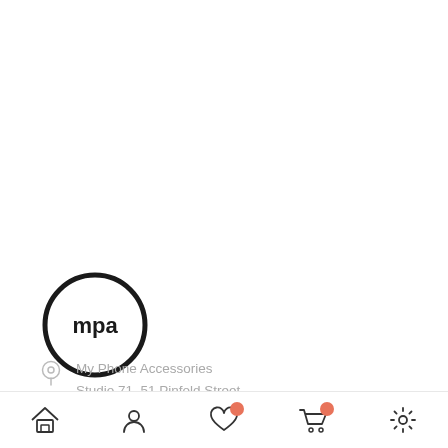[Figure (logo): MPA logo: black circle outline with lowercase 'mpa' text inside]
My Phone Accessories
Studio 71, 51 Pinfold Street
Birmingham, West Midlands B2 4AY
Registered in England and Wales
Company Number: 07757960
[Figure (other): Mobile app navigation bar with home, profile, wishlist (with badge), cart (with badge), and settings icons]